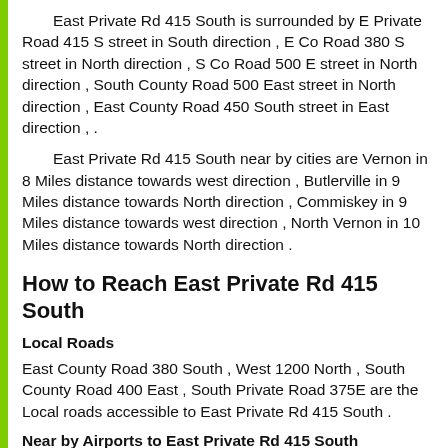East Private Rd 415 South is surrounded by E Private Road 415 S street in South direction , E Co Road 380 S street in North direction , S Co Road 500 E street in North direction , South County Road 500 East street in North direction , East County Road 450 South street in East direction , .
East Private Rd 415 South near by cities are Vernon in 8 Miles distance towards west direction , Butlerville in 9 Miles distance towards North direction , Commiskey in 9 Miles distance towards west direction , North Vernon in 10 Miles distance towards North direction .
How to Reach East Private Rd 415 South
Local Roads
East County Road 380 South , West 1200 North , South County Road 400 East , South Private Road 375E are the Local roads accessible to East Private Rd 415 South .
Near by Airports to East Private Rd 415 South